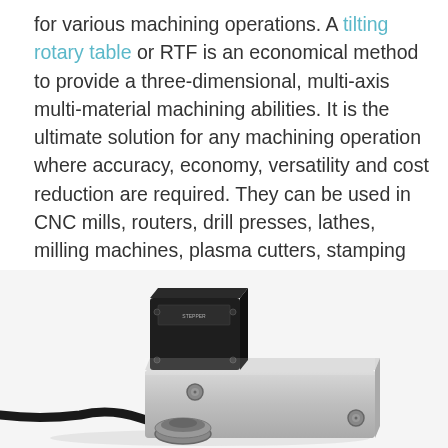for various machining operations. A tilting rotary table or RTF is an economical method to provide a three-dimensional, multi-axis multi-material machining abilities. It is the ultimate solution for any machining operation where accuracy, economy, versatility and cost reduction are required. They can be used in CNC mills, routers, drill presses, lathes, milling machines, plasma cutters, stamping presses, etc. RTF can be directly mounted in place of the original machine or can be an add-on to the existing machine.
[Figure (photo): A tilting rotary table (RTF) device shown from above, featuring a stepper motor (black) attached to a silver/grey metallic block housing, with a black cable extending from the motor, resting on a white background.]